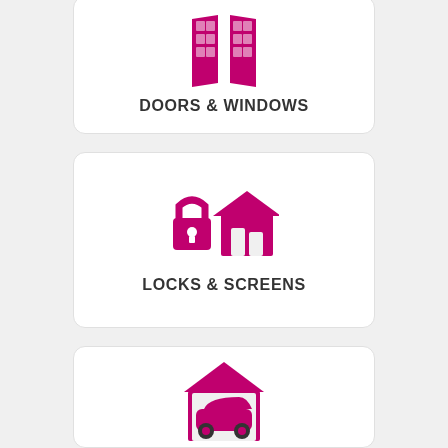[Figure (illustration): Magenta/pink icon of open double doors with window panes]
DOORS & WINDOWS
[Figure (illustration): Magenta/pink icon of a padlock next to a house]
LOCKS & SCREENS
[Figure (illustration): Magenta/pink icon of a car inside a garage/house roof]